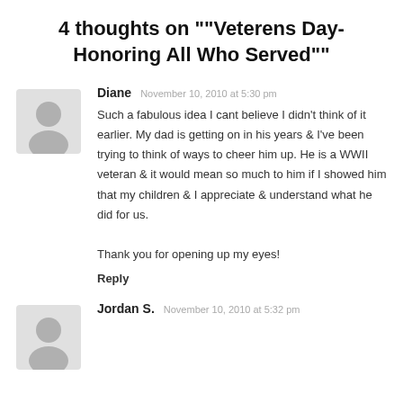4 thoughts on ""Veterens Day- Honoring All Who Served""
Diane   November 10, 2010 at 5:30 pm
Such a fabulous idea I cant believe I didn't think of it earlier. My dad is getting on in his years & I've been trying to think of ways to cheer him up. He is a WWII veteran & it would mean so much to him if I showed him that my children & I appreciate & understand what he did for us.

Thank you for opening up my eyes!
Reply
Jordan S.   November 10, 2010 at 5:32 pm